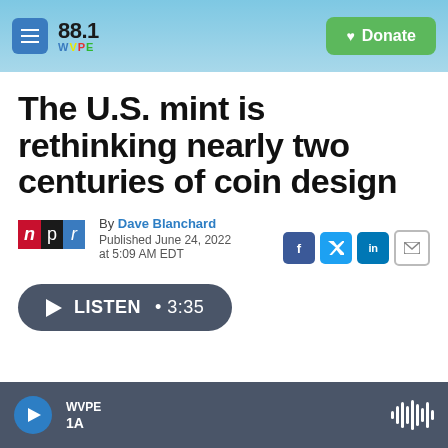88.1 WVPE | Donate
The U.S. mint is rethinking nearly two centuries of coin design
By Dave Blanchard
Published June 24, 2022 at 5:09 AM EDT
[Figure (other): NPR logo and social sharing icons (Facebook, Twitter, LinkedIn, Email)]
LISTEN • 3:35
WVPE 1A